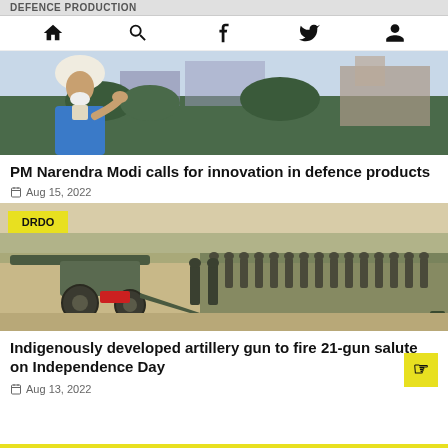DEFENCE PRODUCTION
[Figure (screenshot): Navigation bar with home, search, Facebook, Twitter, and profile icons]
[Figure (photo): PM Narendra Modi in traditional attire speaking at an outdoor event with trees and buildings in background]
PM Narendra Modi calls for innovation in defence products
Aug 15, 2022
[Figure (photo): Artillery gun with military personnel standing behind it at a parade ground, DRDO badge overlaid]
Indigenously developed artillery gun to fire 21-gun salute on Independence Day
Aug 13, 2022